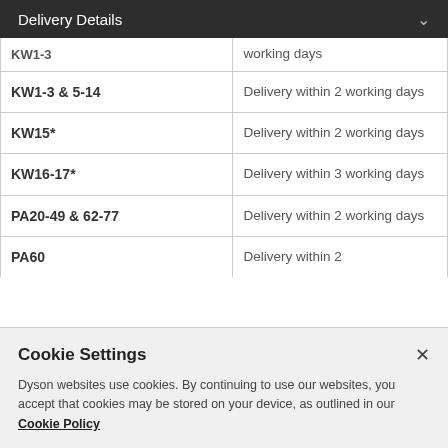Delivery Details
| Postcode | Delivery time |
| --- | --- |
| KW1-3 & 5-14 | Delivery within 2 working days |
| KW15* | Delivery within 2 working days |
| KW16-17* | Delivery within 3 working days |
| PA20-49 & 62-77 | Delivery within 2 working days |
| PA60 | Delivery within 2... |
Cookie Settings
Dyson websites use cookies. By continuing to use our websites, you accept that cookies may be stored on your device, as outlined in our Cookie Policy